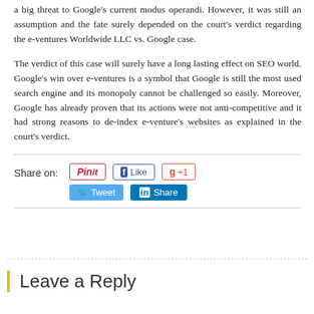a big threat to Google's current modus operandi. However, it was still an assumption and the fate surely depended on the court's verdict regarding the e-ventures Worldwide LLC vs. Google case.
The verdict of this case will surely have a long lasting effect on SEO world. Google's win over e-ventures is a symbol that Google is still the most used search engine and its monopoly cannot be challenged so easily. Moreover, Google has already proven that its actions were not anti-competitive and it had strong reasons to de-index e-venture's websites as explained in the court's verdict.
Share on: [Pinterest Pin it] [Facebook Like] [Google +1] [Twitter Tweet] [LinkedIn Share]
Leave a Reply